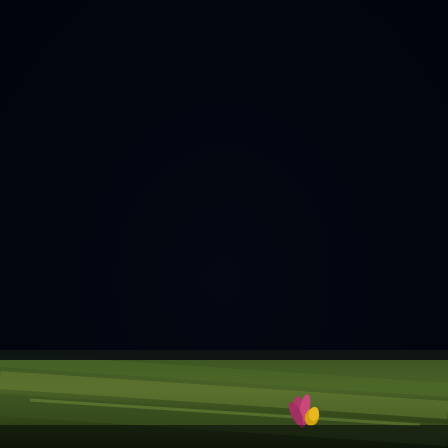[Figure (photo): Dark near-black background occupying the upper portion of the page, part of a botanical/nature photograph with very dark tones]
Aug. A garden in Walkden, Gtr M/cr. Flowers profusely resembling a blaze of flames.
[Figure (photo): Bottom portion of a botanical photograph showing green leaves/foliage with a pink and yellow flower bud visible against a dark background]